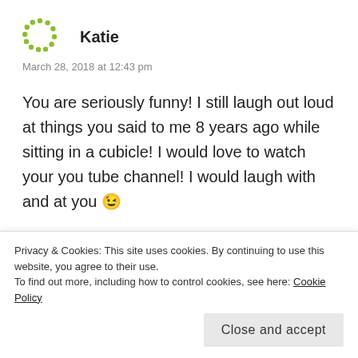[Figure (logo): Green dotted circle avatar icon for user Katie]
Katie
March 28, 2018 at 12:43 pm
You are seriously funny! I still laugh out loud at things you said to me 8 years ago while sitting in a cubicle! I would love to watch your you tube channel! I would laugh with and at you 😉
★ Liked by 1 person
Reply
Privacy & Cookies: This site uses cookies. By continuing to use this website, you agree to their use.
To find out more, including how to control cookies, see here: Cookie Policy
Close and accept